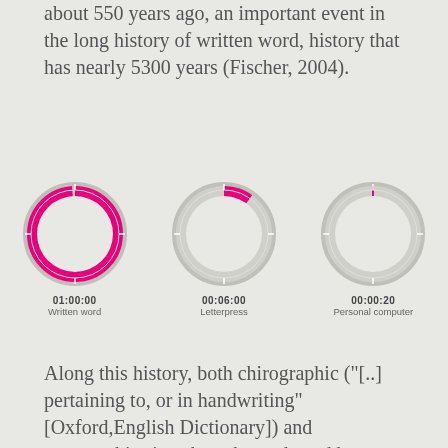about 550 years ago, an important event in the long history of written word, history that has nearly 5300 years (Fischer, 2004).
[Figure (pie-chart): Three clock-style pie charts showing proportional time. Written word (01:00:00) is nearly full magenta circle. Letterpress (00:06:00) is about 1/10 magenta slice. Personal computer (00:00:20) is a tiny magenta sliver.]
Along this history, both chirographic ("[..] pertaining to, or in handwriting" [Oxford,English Dictionary]) and typographic signs have been shaped by several factors that can be summarized in to two main aspects: the cultural and the technological one. For the purposes of this document, in the cultural one, I will address only of the factors that account for the